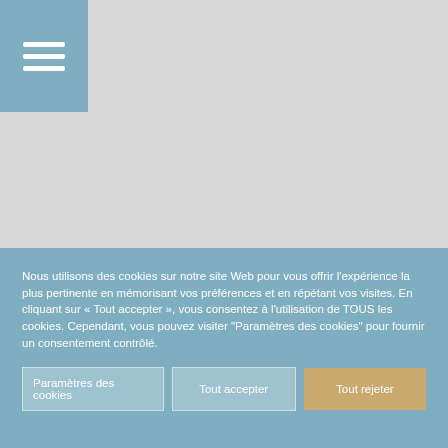[Figure (screenshot): Gray background area representing a website page content area with a blue hamburger menu button in the top-left corner showing three white horizontal lines.]
Nous utilisons des cookies sur notre site Web pour vous offrir l'expérience la plus pertinente en mémorisant vos préférences et en répétant vos visites. En cliquant sur « Tout accepter », vous consentez à l'utilisation de TOUS les cookies. Cependant, vous pouvez visiter "Paramètres des cookies" pour fournir un consentement contrôlé.
Paramètres des cookies
Tout accepter
Tout rejeter